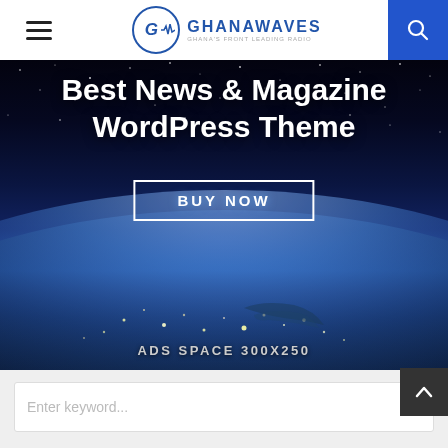GhanaWaves - Ghana's front leading radio
[Figure (photo): Advertisement banner showing Earth from space with text 'Best News & Magazine WordPress Theme', a 'BUY NOW' button, and 'ADS SPACE 300X250' label at the bottom]
Enter keyword...